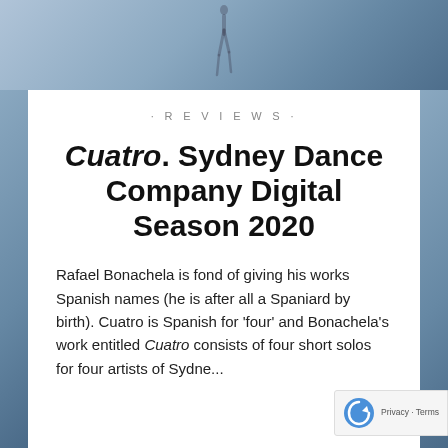[Figure (photo): Background photo of a dancer's legs/feet against a light blue-grey gradient background]
· R E V I E W S ·
Cuatro. Sydney Dance Company Digital Season 2020
Rafael Bonachela is fond of giving his works Spanish names (he is after all a Spaniard by birth). Cuatro is Spanish for 'four' and Bonachela's work entitled Cuatro consists of four short solos for four artists of Sydney...